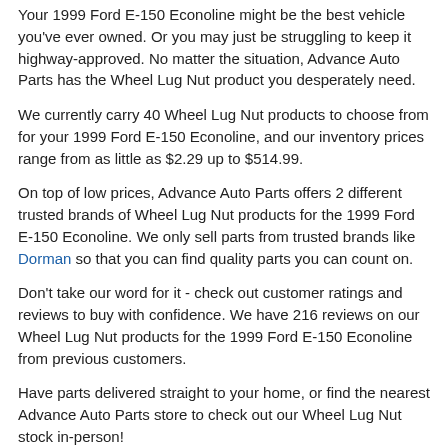Your 1999 Ford E-150 Econoline might be the best vehicle you've ever owned. Or you may just be struggling to keep it highway-approved. No matter the situation, Advance Auto Parts has the Wheel Lug Nut product you desperately need.
We currently carry 40 Wheel Lug Nut products to choose from for your 1999 Ford E-150 Econoline, and our inventory prices range from as little as $2.29 up to $514.99.
On top of low prices, Advance Auto Parts offers 2 different trusted brands of Wheel Lug Nut products for the 1999 Ford E-150 Econoline. We only sell parts from trusted brands like Dorman so that you can find quality parts you can count on.
Don't take our word for it - check out customer ratings and reviews to buy with confidence. We have 216 reviews on our Wheel Lug Nut products for the 1999 Ford E-150 Econoline from previous customers.
Have parts delivered straight to your home, or find the nearest Advance Auto Parts store to check out our Wheel Lug Nut stock in-person!